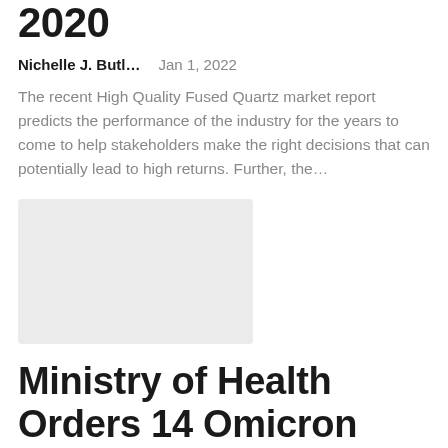2020
Nichelle J. Butl...    Jan 1, 2022
The recent High Quality Fused Quartz market report predicts the performance of the industry for the years to come to help stakeholders make the right decisions that can potentially lead to high returns. Further, the...
[Figure (photo): Placeholder image (light gray rectangle)]
Ministry of Health Orders 14 Omicron Variant Cases to Be Treated in Da Nang | Health